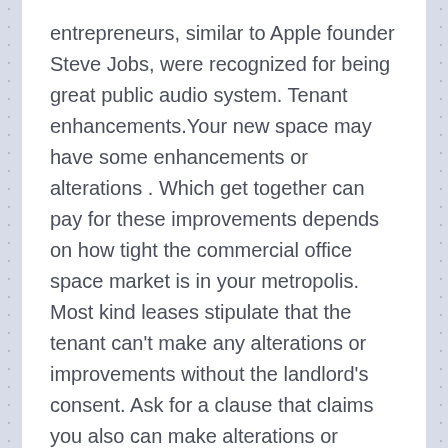entrepreneurs, similar to Apple founder Steve Jobs, were recognized for being great public audio system. Tenant enhancements.Your new space may have some enhancements or alterations . Which get together can pay for these improvements depends on how tight the commercial office space market is in your metropolis. Most kind leases stipulate that the tenant can't make any alterations or improvements without the landlord's consent. Ask for a clause that claims you also can make alterations or enhancements with the landlord's consent, and that the consent won't be unreasonably withheld, delayed, or conditioned.... Read More
December 21, 2020 by Author  Starting A Business